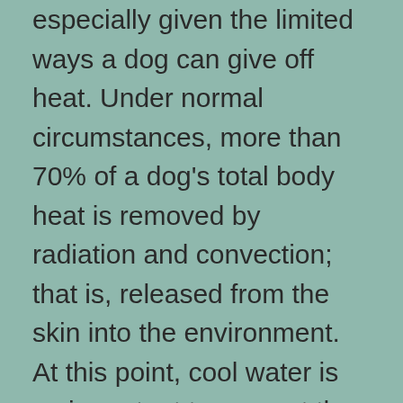especially given the limited ways a dog can give off heat. Under normal circumstances, more than 70% of a dog's total body heat is removed by radiation and convection; that is, released from the skin into the environment. At this point, cool water is so important to prevent the dog from overheating – it acts as a heat sink, absorbing body heat from the dog's skin. However, as the temperature of the air or water increases, this becomes less effective again.
Since dogs only sweat minimally through their paws and nose, this is not an effective cooling mechanism when large amounts of heat need